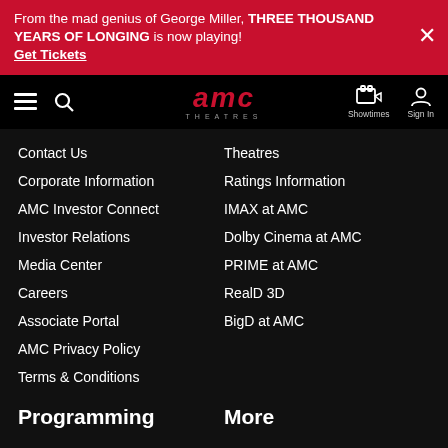From the mad genius of George Miller, THREE THOUSAND YEARS OF LONGING is now playing! Get Tickets
[Figure (logo): AMC Theatres logo with hamburger menu, search, showtimes ticket icon, and sign in icon]
Contact Us
Corporate Information
AMC Investor Connect
Investor Relations
Media Center
Careers
Associate Portal
AMC Privacy Policy
Terms & Conditions
Theatres
Ratings Information
IMAX at AMC
Dolby Cinema at AMC
PRIME at AMC
RealD 3D
BigD at AMC
Programming
More